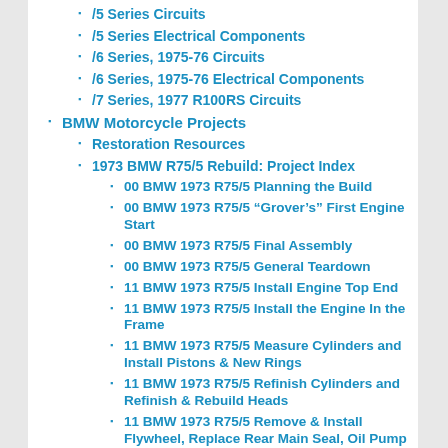/5 Series Circuits
/5 Series Electrical Components
/6 Series, 1975-76 Circuits
/6 Series, 1975-76 Electrical Components
/7 Series, 1977 R100RS Circuits
BMW Motorcycle Projects
Restoration Resources
1973 BMW R75/5 Rebuild: Project Index
00 BMW 1973 R75/5 Planning the Build
00 BMW 1973 R75/5 “Grover’s” First Engine Start
00 BMW 1973 R75/5 Final Assembly
00 BMW 1973 R75/5 General Teardown
11 BMW 1973 R75/5 Install Engine Top End
11 BMW 1973 R75/5 Install the Engine In the Frame
11 BMW 1973 R75/5 Measure Cylinders and Install Pistons & New Rings
11 BMW 1973 R75/5 Refinish Cylinders and Refinish & Rebuild Heads
11 BMW 1973 R75/5 Remove & Install Flywheel, Replace Rear Main Seal, Oil Pump